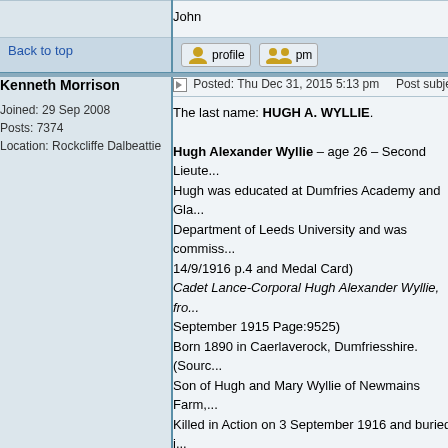John
Back to top
Kenneth Morrison
Joined: 29 Sep 2008
Posts: 7374
Location: Rockcliffe Dalbeattie
Posted: Thu Dec 31, 2015 5:13 pm    Post subject:
The last name: HUGH A. WYLLIE.

Hugh Alexander Wyllie – age 26 – Second Lieute...
Hugh was educated at Dumfries Academy and Gla...
Department of Leeds University and was commiss...
14/9/1916 p.4 and Medal Card)
Cadet Lance-Corporal Hugh Alexander Wyllie, fro...
September 1915 Page:9525)
Born 1890 in Caerlaverock, Dumfriesshire. (Sourc...
Son of Hugh and Mary Wyllie of Newmains Farm,...
Killed in Action on 3 September 1916 and buried i...
Also named on the Caerlaverock Parish War Mem...

Ken
Back to top
Kenneth Morrison
Posted: Fri Jan 01, 2016 3:54 pm    Post subject:
Jose Kormandy Peden, is also on the memorial i...